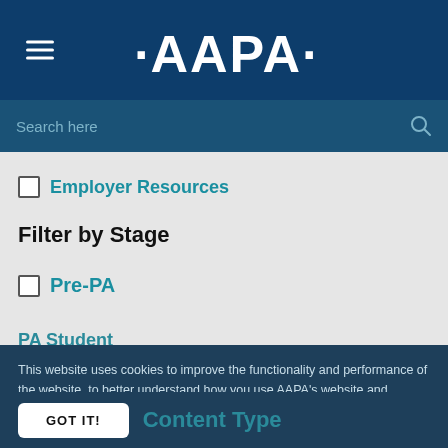AAPA
Employer Resources
Filter by Stage
Pre-PA
PA Student
New Grad
Mid/Later Career
Content Type
This website uses cookies to improve the functionality and performance of the website, to better understand how you use AAPA’s website and services, and to provide you with a customized experience. By continuing your use of this website, you consent to this use of cookies. See our Privacy Policy for more information.
GOT IT!